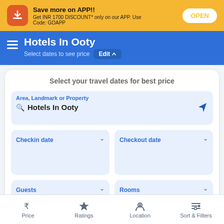Save more on APP!! Get INR 1700 DISCOUNT* only on our APP. Use Code: GOAPP
Hotels In Ooty
Select dates to see price
Select your travel dates for best price
Area, Landmark or Property — Hotels In Ooty
Checkin date
Checkout date
Guests
Rooms
Price   Ratings   Location   Sort & Filters